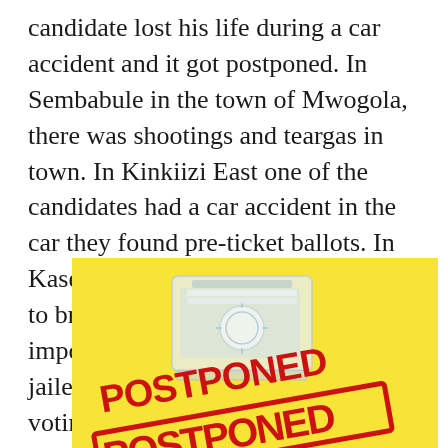candidate lost his life during a car accident and it got postponed. In Sembabule in the town of Mwogola, there was shootings and teargas in town. In Kinkiizi East one of the candidates had a car accident in the car they found pre-ticket ballots. In Kasese an MP was caught with trying to bribe votes and his car got impounded. In Mbale 32 people was jailed for planning to disrupt the voting in Bungokho South.
[Figure (photo): Photo of a yellow background with a white translucent ballot box and a red POSTPONED stamp overlaid diagonally]